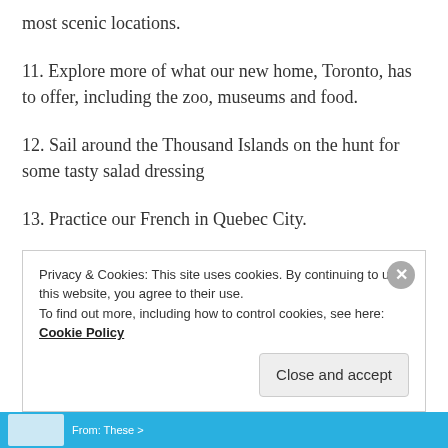most scenic locations.
11. Explore more of what our new home, Toronto, has to offer, including the zoo, museums and food.
12. Sail around the Thousand Islands on the hunt for some tasty salad dressing
13. Practice our French in Quebec City.
14. See Canada’s national animal, the beaver, in the wild. The closest we’ve come so far is seeing one of their dams.
Privacy & Cookies: This site uses cookies. By continuing to use this website, you agree to their use. To find out more, including how to control cookies, see here: Cookie Policy
Close and accept